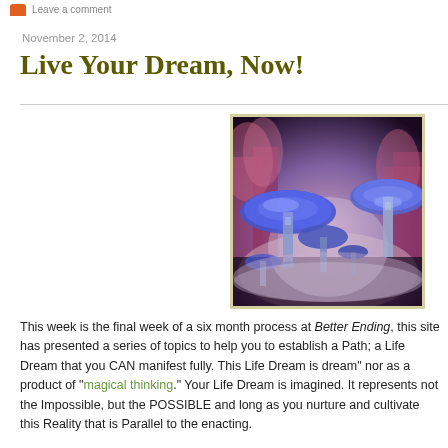Leave a comment
November 2, 2014
Live Your Dream, Now!
[Figure (illustration): Fantastical scene of glowing blue mushrooms in a misty forest with pink/purple lighting and trees in the background]
This week is the final week of a six month process at Better Ending, this site has presented a series of topics to help you to establish a Path; a Life Dream that you CAN manifest fully. This Life Dream is dream” nor as a product of “magical thinking.” Your Life Dream is imagined. It represents not the Impossible, but the POSSIBLE and long as you nurture and cultivate this Reality that is Parallel to the enacting.